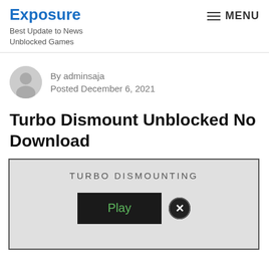Exposure
Best Update to News Unblocked Games
MENU
By adminsaja
Posted December 6, 2021
Turbo Dismount Unblocked No Download
[Figure (screenshot): Game screenshot showing Turbo Dismounting title with a Play button and a close (X) button on a light gray background]